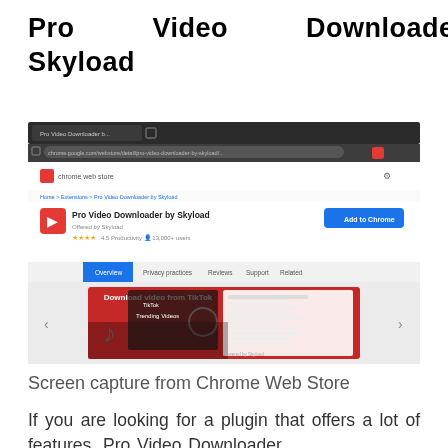Pro Video Downloader by Skyload
[Figure (screenshot): Screenshot of Chrome Web Store page showing Pro Video Downloader by Skyload extension listing, with Add to Chrome button, star rating, and a promotional image showing 'Download video from TikTok' with TikTok branding and Trending Videos interface.]
Screen capture from Chrome Web Store
If you are looking for a plugin that offers a lot of features, Pro Video Downloader